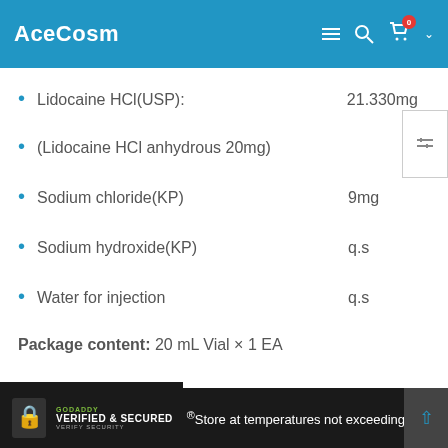AceCosm
Lidocaine HCl(USP):    21.330mg
(Lidocaine HCl anhydrous 20mg)
Sodium chloride(KP)    9mg
Sodium hydroxide(KP)    q.s
Water for injection    q.s
Package content: 20 mL Vial × 1 EA
Storage:
® Store at temperatures not exceeding